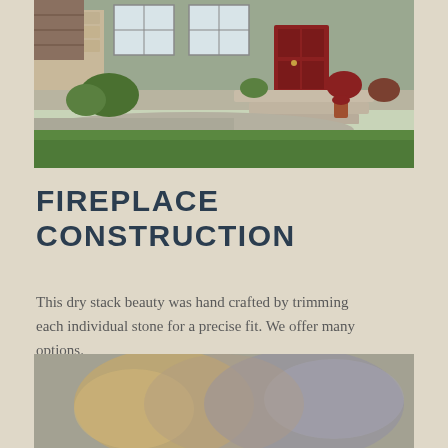[Figure (photo): Exterior front of a house with stone steps, red door, lush green lawn, and a concrete walkway surrounded by plants and shrubs.]
FIREPLACE CONSTRUCTION
This dry stack beauty was hand crafted by trimming each individual stone for a precise fit. We offer many options.
[Figure (photo): Blurred close-up photo, likely showing a fireplace or stone construction detail.]